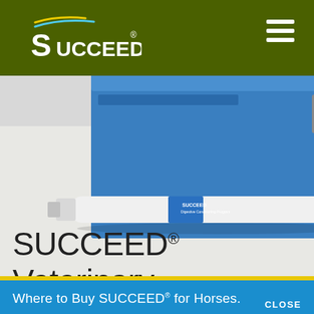SUCCEED® (logo header bar with navigation)
[Figure (photo): SUCCEED Veterinary Formula product photo showing a syringe/tube and blue product box with multiple horse images]
SUCCEED® Veterinary Formula
Where to Buy SUCCEED® for Horses.
BUY NOW
CLOSE